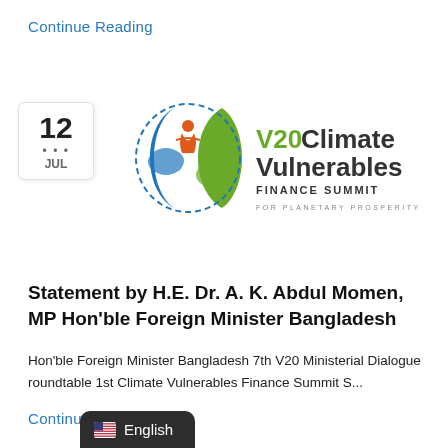Continue Reading
[Figure (logo): V20 Climate Vulnerables Finance Summit logo with circular emblem in orange, blue and green, and text 'V20 Climate Vulnerables FINANCE SUMMIT FOR PLANETARY PROSPERITY']
Statement by H.E. Dr. A. K. Abdul Momen, MP Hon'ble Foreign Minister Bangladesh
Hon'ble Foreign Minister Bangladesh 7th V20 Ministerial Dialogue roundtable 1st Climate Vulnerables Finance Summit S...
Continue Reading